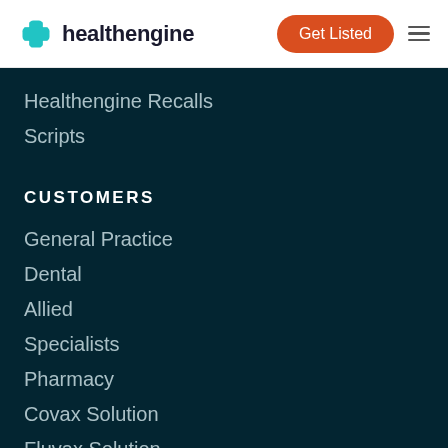healthengine — Get Listed
Healthengine Recalls
Scripts
CUSTOMERS
General Practice
Dental
Allied
Specialists
Pharmacy
Covax Solution
Fluvax Solution